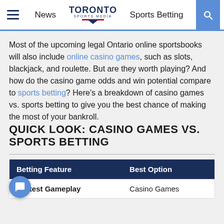News | TORONTO SPORTS MEDIA | Sports Betting
Most of the upcoming legal Ontario online sportsbooks will also include online casino games, such as slots, blackjack, and roulette. But are they worth playing? And how do the casino game odds and win potential compare to sports betting? Here's a breakdown of casino games vs. sports betting to give you the best chance of making the most of your bankroll.
QUICK LOOK: CASINO GAMES VS. SPORTS BETTING
| Betting Feature | Best Option |
| --- | --- |
| Fastest Gameplay | Casino Games |